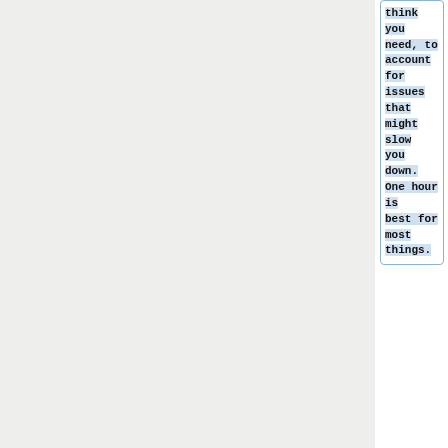think you need, to account for issues that might slow you down. One hour is best for most things.
* '''Requesting a change''': Add your username and URL to Gerrit patch in the backport window you want to